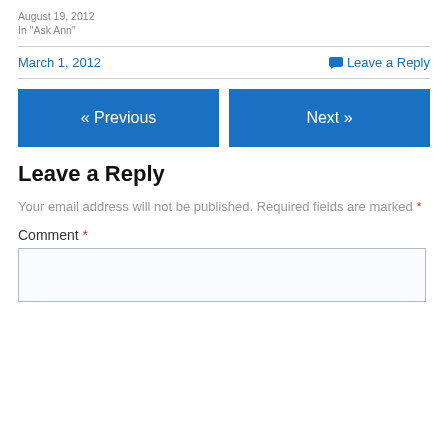August 19, 2012
In "Ask Ann"
March 1, 2012
Leave a Reply
« Previous
Next »
Leave a Reply
Your email address will not be published. Required fields are marked *
Comment *